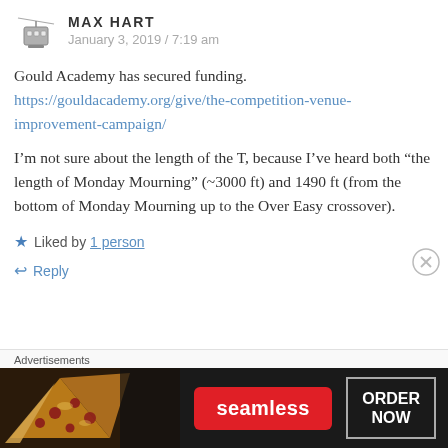[Figure (illustration): Avatar icon of a ski gondola/cable car in gray tones]
MAX HART
January 3, 2019 / 7:19 am
Gould Academy has secured funding.
https://gouldacademy.org/give/the-competition-venue-improvement-campaign/
I’m not sure about the length of the T, because I’ve heard both “the length of Monday Mourning” (~3000 ft) and 1490 ft (from the bottom of Monday Mourning up to the Over Easy crossover).
★ Liked by 1 person
↩ Reply
Advertisements
[Figure (photo): Seamless food delivery advertisement banner featuring pizza and ORDER NOW button]